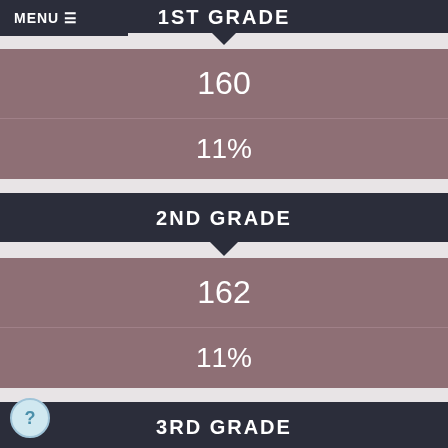1ST GRADE
160
11%
2ND GRADE
162
11%
3RD GRADE
127